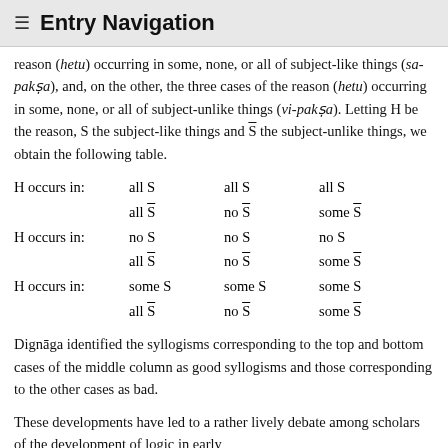≡ Entry Navigation
reason (hetu) occurring in some, none, or all of subject-like things (sa-pakṣa), and, on the other, the three cases of the reason (hetu) occurring in some, none, or all of subject-unlike things (vi-pakṣa). Letting H be the reason, S the subject-like things and S̄ the subject-unlike things, we obtain the following table.
| H occurs in: | all S | all S | all S |
|  | all S̄ | no S̄ | some S̄ |
| H occurs in: | no S | no S | no S |
|  | all S̄ | no S̄ | some S̄ |
| H occurs in: | some S | some S | some S |
|  | all S̄ | no S̄ | some S̄ |
Dignāga identified the syllogisms corresponding to the top and bottom cases of the middle column as good syllogisms and those corresponding to the other cases as bad.
These developments have led to a rather lively debate among scholars of the development of logic in early